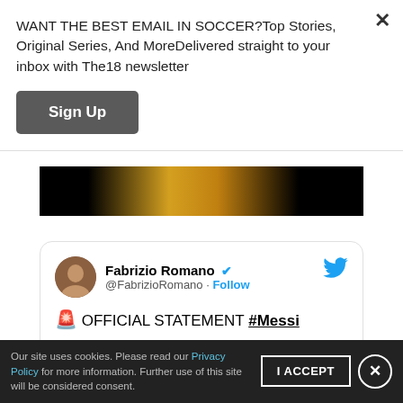WANT THE BEST EMAIL IN SOCCER?Top Stories, Original Series, And MoreDelivered straight to your inbox with The18 newsletter
Sign Up
[Figure (photo): Dark photo strip showing a soccer player with golden jersey against black background]
[Figure (screenshot): Embedded tweet from Fabrizio Romano (@FabrizioRano) with verified check, Follow link, Twitter bird icon, showing: 🚨 OFFICIAL STATEMENT #Messi followed by quote text starting 'Despite having reached an agreement']
Our site uses cookies. Please read our Privacy Policy for more information. Further use of this site will be considered consent.
I ACCEPT